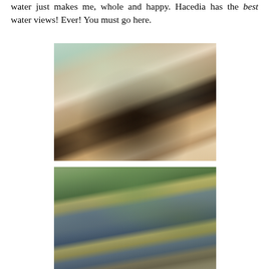water just makes me, whole and happy. Hacedia has the best water views! Ever! You must go here.
[Figure (photo): Interior of Hacienda restaurant showing pink/blush upholstered chairs, dark round tables, and a person holding a black menu/clutch with gold Hacienda logo and palm tree design, with a textured golden bottom half]
[Figure (photo): Interior of a modern restaurant with plant-covered ceiling panels, glass walls, and green hanging plants, showing a bright airy lobby/lounge area]